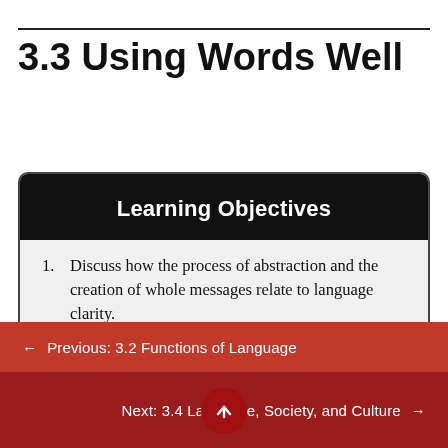3.3 Using Words Well
Learning Objectives
Discuss how the process of abstraction and the creation of whole messages relate to language clarity.
Employ figurative and evocative language.
← Previous: 3.2 Functions of Language
Next: 3.4 Language, Society, and Culture →